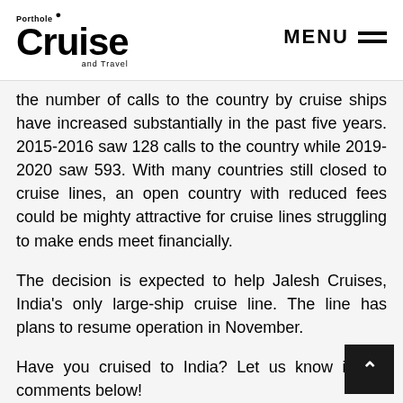Porthole Cruise and Travel | MENU
the number of calls to the country by cruise ships have increased substantially in the past five years. 2015-2016 saw 128 calls to the country while 2019-2020 saw 593. With many countries still closed to cruise lines, an open country with reduced fees could be mighty attractive for cruise lines struggling to make ends meet financially.
The decision is expected to help Jalesh Cruises, India's only large-ship cruise line. The line has plans to resume operation in November.
Have you cruised to India? Let us know in the comments below!